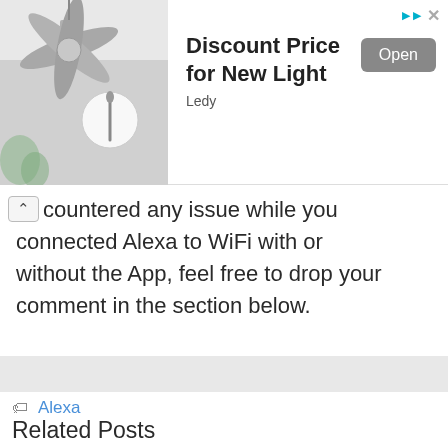[Figure (screenshot): Advertisement banner for 'Discount Price for New Light' by Ledy, showing a decorative light fixture image on the left, bold title text, an Open button, and corner ad markers.]
countered any issue while you connected Alexa to WiFi with or without the App, feel free to drop your comment in the section below.
Smart Home
Alexa
Related Posts